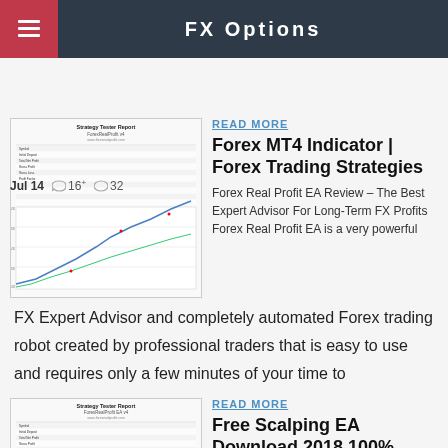FX Options
Jul 14  16  32
[Figure (screenshot): Strategy Tester Report screenshot showing a trading performance chart with an upward sloping equity curve and data table]
READ MORE
Forex MT4 Indicator | Forex Trading Strategies
Forex Real Profit EA Review – The Best Expert Advisor For Long-Term FX Profits Forex Real Profit EA is a very powerful FX Expert Advisor and completely automated Forex trading robot created by professional traders that is easy to use and requires only a few minutes of your time to
[Figure (screenshot): Strategy Tester Report screenshot showing ForexRealProfit EA data table]
READ MORE
Free Scalping EA Download 2018 100% working with